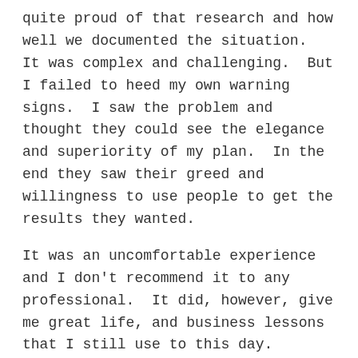quite proud of that research and how well we documented the situation.  It was complex and challenging.  But I failed to heed my own warning signs.  I saw the problem and thought they could see the elegance and superiority of my plan.  In the end they saw their greed and willingness to use people to get the results they wanted.
It was an uncomfortable experience and I don't recommend it to any professional.  It did, however, give me great life, and business lessons that I still use to this day.
Go with your gut.  As a professional advisor, you have to trust your instincts.  Not every client is a perfect client and if you feel they